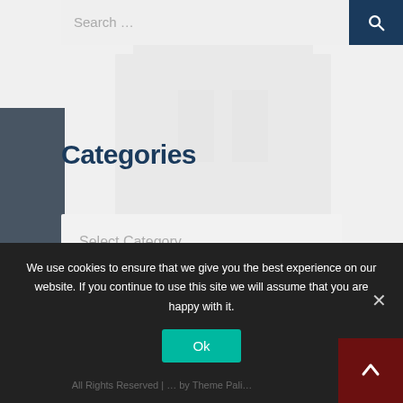Search …
Categories
Select Category
We use cookies to ensure that we give you the best experience on our website. If you continue to use this site we will assume that you are happy with it.
Ok
All Rights Reserved | … by Theme Pali…